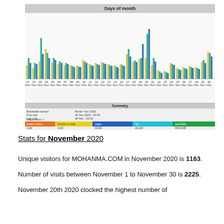[Figure (grouped-bar-chart): Days of month]
[Figure (infographic): Summary table showing statistics: Bandwidth served, First visit, Last visit, Unique visitors, Number of visits, Pages, Hits, Bandwidth with color-coded bar]
Stats for November 2020
Unique visitors for MOHANMA.COM in November 2020 is 1163.
Number of visits between November 1 to November 30 is 2225.
November 20th 2020 clocked the highest number of